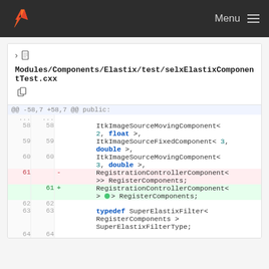Menu
Modules/Components/Elastix/test/selxElastixComponentTest.cxx
[Figure (screenshot): Git diff view showing changes to selxElastixComponentTest.cxx. Lines 58-64 shown. Line 61 deleted: RegistrationControllerComponent< >> RegisterComponents; Line 61 added: RegistrationControllerComponent< > > RegisterComponents;]